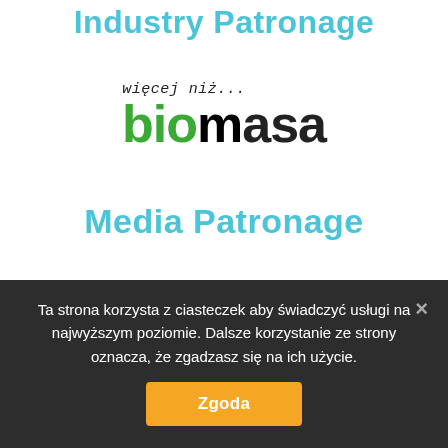Industry Patronage
[Figure (logo): Biomasa magazine logo with handwritten text 'więcej niż...' above and stylized 'biomasa' text where 'bio' is in green and 'masa' is in black]
Media Patronage
Ta strona korzysta z ciasteczek aby świadczyć usługi na najwyższym poziomie. Dalsze korzystanie ze strony oznacza, że zgadzasz się na ich użycie.